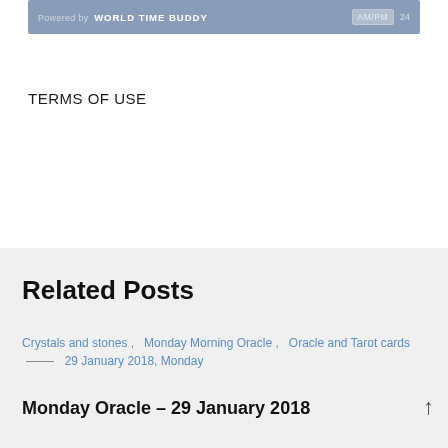[Figure (screenshot): World Time Buddy banner with 'Powered by WORLD TIME BUDDY' on the left and AM/PM and 24 toggle buttons on the right, on a steel-blue background.]
TERMS OF USE
Related Posts
Crystals and stones ,  Monday Morning Oracle ,  Oracle and Tarot cards  ——  29 January 2018, Monday
Monday Oracle – 29 January 2018